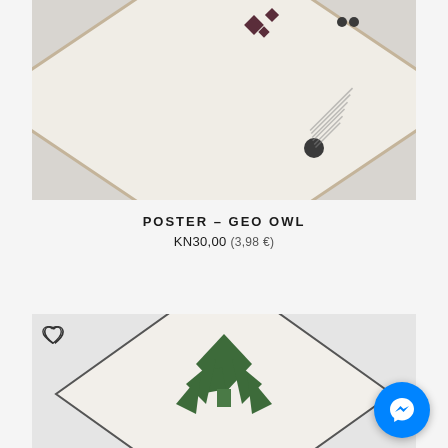[Figure (photo): Top-down product photo of a cream/beige poster lying at a diagonal angle on a light grey background, showing the back of the poster with some text and a small logo visible]
POSTER – GEO OWL
KN30,00 (3,98 €)
[Figure (photo): Partially visible product photo of a poster featuring a geometric green owl/bird design on a cream background with a dark border, lying diagonally on a light grey background. A heart/wishlist icon is visible in the top left corner.]